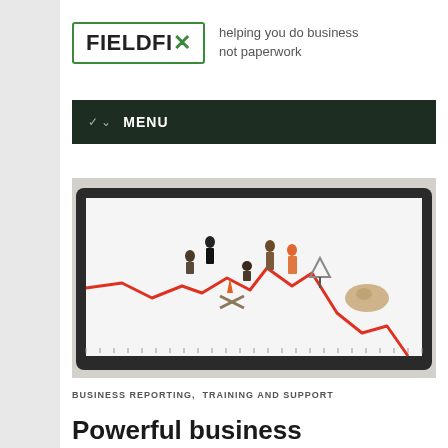[Figure (logo): FIELDFIX logo with green border and tagline 'helping you do business not paperwork']
MENU
[Figure (photo): Miniature figurines of construction workers and road workers on a white surface with a red line graph, inside a dark-framed tablet or board.]
BUSINESS REPORTING, TRAINING AND SUPPORT
Powerful business